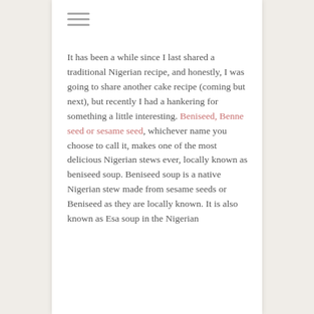☰
It has been a while since I last shared a traditional Nigerian recipe, and honestly, I was going to share another cake recipe (coming but next), but recently I had a hankering for something a little interesting. Beniseed, Benne seed or sesame seed, whichever name you choose to call it, makes one of the most delicious Nigerian stews ever, locally known as beniseed soup. Beniseed soup is a native Nigerian stew made from sesame seeds or Beniseed as they are locally known. It is also known as Esa soup in the Nigerian